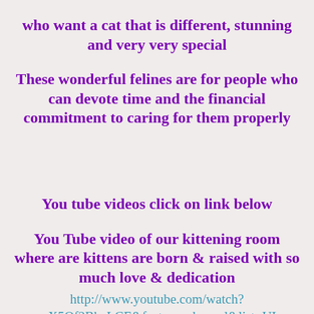who want a cat that is different, stunning and very very special These wonderful felines are for people who can devote time and the financial commitment to caring for them properly
You tube videos click on link below You Tube video of our kittening room where are kittens are born & raised with so much love & dedication
http://www.youtube.com/watch?v=X5Of2BbaLCE&feature=channel&list=UL